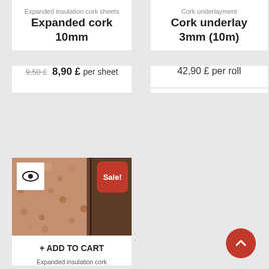Expanded insulation cork sheets
Expanded cork 10mm
9,50 £  8,90 £  per sheet
Cork underlayment
Cork underlay 3mm (10m)
42,90 £ per roll
[Figure (photo): Expanded insulation cork sheet texture photo with eye icon badge and red Sale! badge]
+ ADD TO CART
Expanded insulation cork